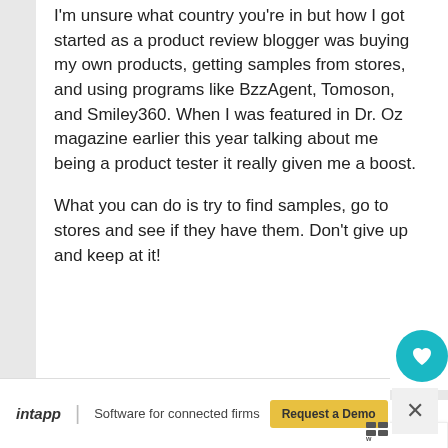I'm unsure what country you're in but how I got started as a product review blogger was buying my own products, getting samples from stores, and using programs like BzzAgent, Tomoson, and Smiley360. When I was featured in Dr. Oz magazine earlier this year talking about me being a product tester it really given me a boost.

What you can do is try to find samples, go to stores and see if they have them. Don't give up and keep at it!
Unknown
9:59 PM
WHAT'S NEXT → Get Paid to Test and...
intapp | Software for connected firms  Request a Demo